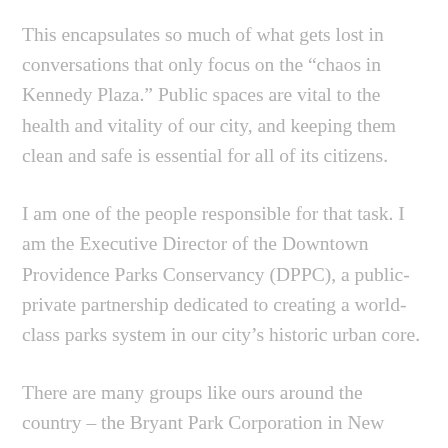This encapsulates so much of what gets lost in conversations that only focus on the “chaos in Kennedy Plaza.” Public spaces are vital to the health and vitality of our city, and keeping them clean and safe is essential for all of its citizens.
I am one of the people responsible for that task. I am the Executive Director of the Downtown Providence Parks Conservancy (DPPC), a public-private partnership dedicated to creating a world-class parks system in our city’s historic urban core.
There are many groups like ours around the country – the Bryant Park Corporation in New